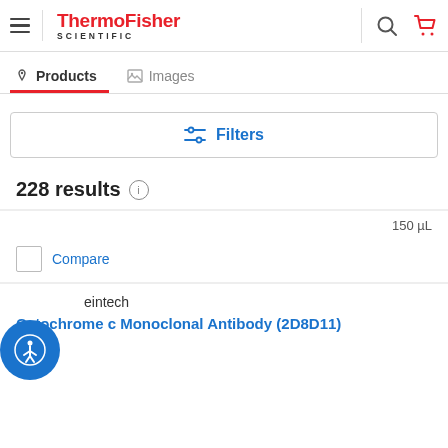[Figure (screenshot): ThermoFisher Scientific website header with hamburger menu, logo, search icon, and cart icon]
Products   Images
Filters
228 results
150 µL
Compare
eintech
Cytochrome c Monoclonal Antibody (2D8D11)